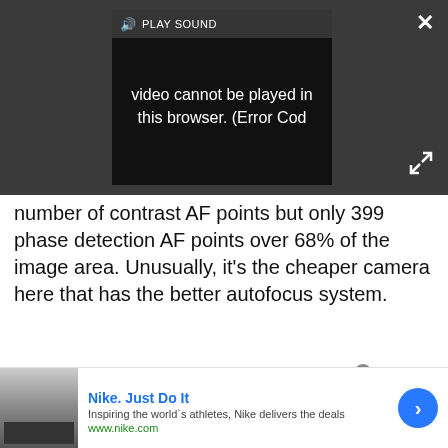[Figure (screenshot): Video player showing error message: 'video cannot be played in this browser. (Error Cod' with PLAY SOUND button and close/fullscreen controls on dark background]
number of contrast AF points but only 399 phase detection AF points over 68% of the image area. Unusually, it's the cheaper camera here that has the better autofocus system.
[Figure (screenshot): Advertisement box with 'Advertisement' header, 'Search for' bar with eye icon, and item '1. 10 BEST DIGITAL SLR CAMERAS' with right arrow]
[Figure (screenshot): Bottom banner ad for Nike. Just Do It - 'Inspiring the world's athletes, Nike delivers the deals' - www.nike.com with blue circle arrow button]